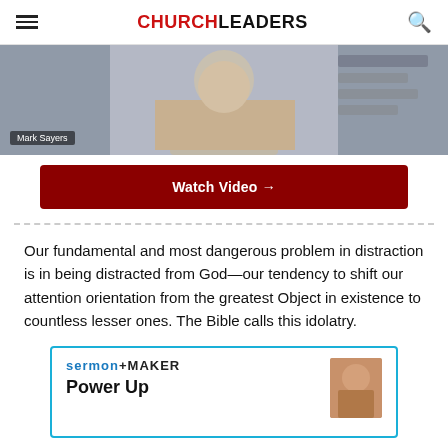CHURCHLEADERS
[Figure (screenshot): Video thumbnail showing a man in a grey pullover gesturing with hands, with 'Mark Sayers' name badge overlay]
Watch Video →
Our fundamental and most dangerous problem in distraction is in being distracted from God—our tendency to shift our attention orientation from the greatest Object in existence to countless lesser ones. The Bible calls this idolatry.
[Figure (infographic): SermonMaker advertisement box with blue border, showing 'sermon+MAKER' logo and 'Power Up' heading with a headshot of a man]